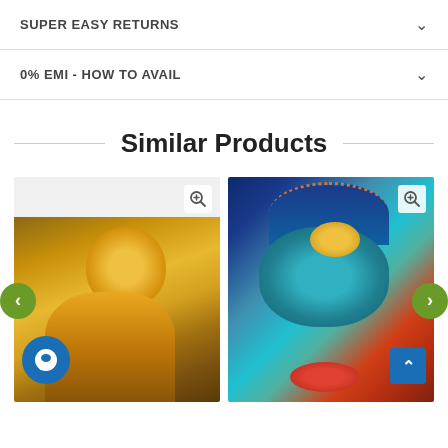SUPER EASY RETURNS
0% EMI - HOW TO AVAIL
Similar Products
[Figure (photo): Gold Buddha statue painting]
[Figure (photo): Colorful blue Buddha face painting]